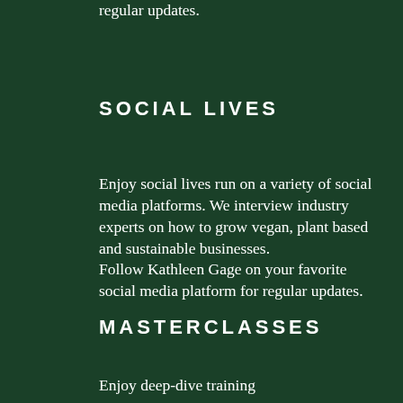regular updates.
SOCIAL LIVES
Enjoy social lives run on a variety of social media platforms. We interview industry experts on how to grow vegan, plant based and sustainable businesses.
Follow Kathleen Gage on your favorite social media platform for regular updates.
MASTERCLASSES
Enjoy deep-dive training